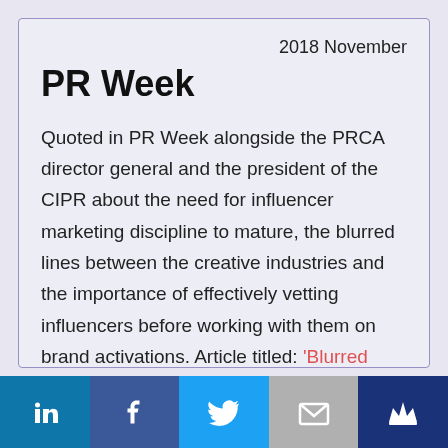2018 November
PR Week
Quoted in PR Week alongside the PRCA director general and the president of the CIPR about the need for influencer marketing discipline to mature, the blurred lines between the creative industries and the importance of effectively vetting influencers before working with them on brand activations. Article titled: ‘Blurred
[Figure (infographic): Social media icon bar at bottom: LinkedIn, Facebook, Twitter, Email, Crown icons on colored backgrounds]